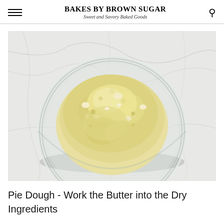BAKES BY BROWN SUGAR — Sweet and Savory Baked Goods
[Figure (photo): Overhead view of a glass mixing bowl on a marble surface, containing crumbly yellow pie dough mixture of flour and butter worked together]
Pie Dough - Work the Butter into the Dry Ingredients